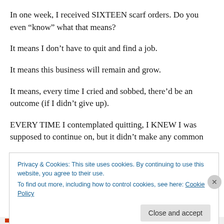In one week, I received SIXTEEN scarf orders. Do you even “know” what that means?
It means I don’t have to quit and find a job.
It means this business will remain and grow.
It means, every time I cried and sobbed, there’d be an outcome (if I didn’t give up).
EVERY TIME I contemplated quitting, I KNEW I was supposed to continue on, but it didn’t make any common
Privacy & Cookies: This site uses cookies. By continuing to use this website, you agree to their use.
To find out more, including how to control cookies, see here: Cookie Policy
Close and accept